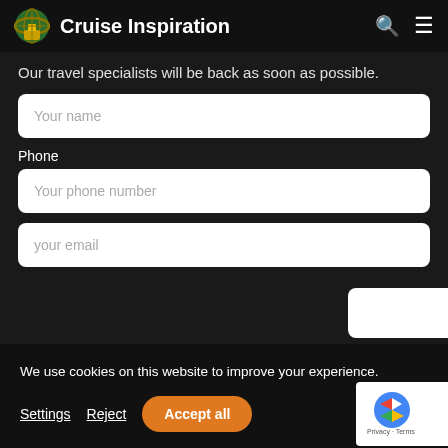Cruise Inspiration
Our travel specialists will be back as soon as possible.
Your name
Phone
Your phone number
your email
We use cookies on this website to improve your experience. Settings  Reject  Accept all